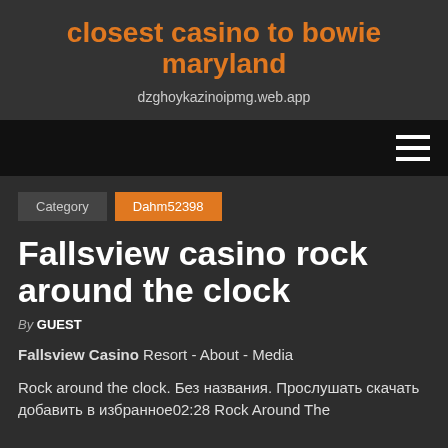closest casino to bowie maryland
dzghoykazinoipmg.web.app
[Figure (other): Navigation bar with hamburger menu icon (three horizontal lines) on dark/black background]
Category   Dahm52398
Fallsview casino rock around the clock
By GUEST
Fallsview Casino Resort - About - Media
Rock around the clock. Без названия. Прослушать скачать добавить в избранное02:28 Rock Around The